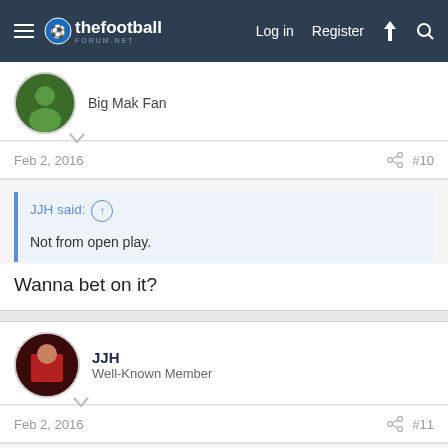thefootball forum.net — Log in | Register
Big Mak Fan
Feb 2, 2016  #10
JJH said: ↑
Not from open play.
Wanna bet on it?
JJH
Well-Known Member
Feb 2, 2016  #11
TomPNE94 said: ↑